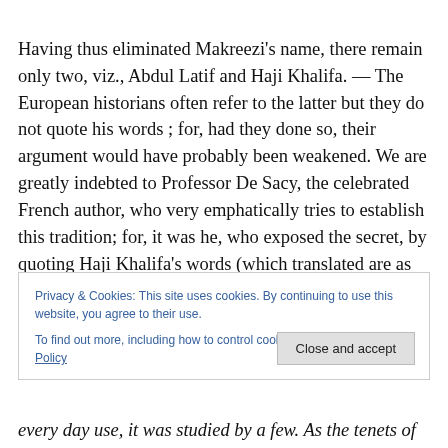Having thus eliminated Makreezi's name, there remain only two, viz., Abdul Latif and Haji Khalifa. — The European historians often refer to the latter but they do not quote his words ; for, had they done so, their argument would have probably been weakened. We are greatly indebted to Professor De Sacy, the celebrated French author, who very emphatically tries to establish this tradition; for, it was he, who exposed the secret, by quoting Haji Khalifa's words (which translated are as
Privacy & Cookies: This site uses cookies. By continuing to use this website, you agree to their use.
To find out more, including how to control cookies, see here: Cookie Policy
every day use, it was studied by a few. As the tenets of